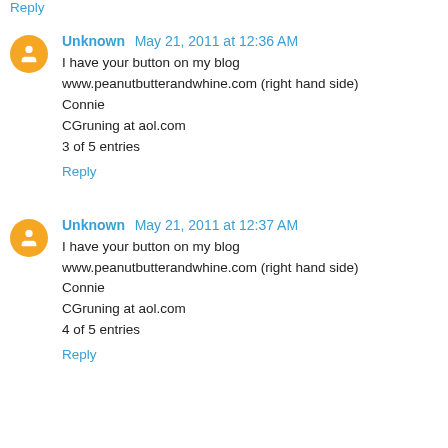Reply
Unknown  May 21, 2011 at 12:36 AM
I have your button on my blog www.peanutbutterandwhine.com (right hand side)
Connie
CGruning at aol.com
3 of 5 entries
Reply
Unknown  May 21, 2011 at 12:37 AM
I have your button on my blog www.peanutbutterandwhine.com (right hand side)
Connie
CGruning at aol.com
4 of 5 entries
Reply